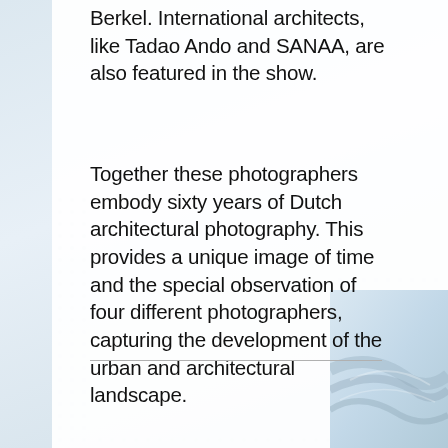Berkel. International architects, like Tadao Ando and SANAA, are also featured in the show.
Together these photographers embody sixty years of Dutch architectural photography. This provides a unique image of time and the special observation of four different photographers, capturing the development of the urban and architectural landscape.
[Figure (photo): Abstract architectural photograph visible in lower-right corner, showing curved road or structure in light blue-grey tones with dot pattern overlay]